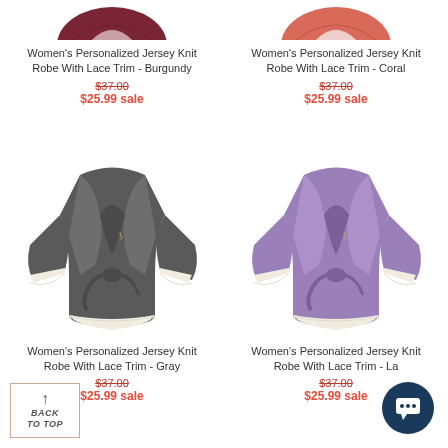[Figure (photo): Gray women's jersey knit robe with lace trim, top-left (partial, cropped at top)]
Women's Personalized Jersey Knit Robe With Lace Trim - Burgundy
$37.00 (strikethrough) $25.99 sale
[Figure (photo): Coral women's jersey knit robe with lace trim, top-right (partial, cropped at top)]
Women's Personalized Jersey Knit Robe With Lace Trim - Coral
$37.00 (strikethrough) $25.99 sale
[Figure (photo): Gray women's jersey knit robe with lace trim, full view]
Women's Personalized Jersey Knit Robe With Lace Trim - Gray
$37.00 (strikethrough) $25.99 sale
[Figure (photo): Lavender/purple women's jersey knit robe with lace trim, full view]
Women's Personalized Jersey Knit Robe With Lace Trim - La...
$37.00 (strikethrough) $25.99 sale